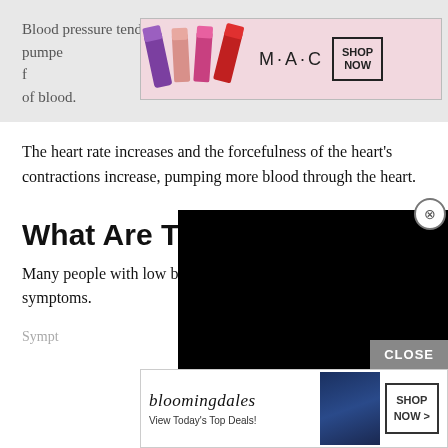Blood pressure tends to be lower if less blood is being pumped and more flexible arteries that allow for easier flow of blood.
[Figure (screenshot): MAC cosmetics advertisement banner with lipsticks and SHOP NOW button]
The heart rate increases and the forcefulness of the heart's contractions increase, pumping more blood through the heart.
[Figure (screenshot): Black video player overlay with close X button]
What Are The Sym
Many people with low blood pressure don't have any symptoms.
Sympt
[Figure (screenshot): CLOSE button bar and Bloomingdales advertisement with SHOP NOW button]